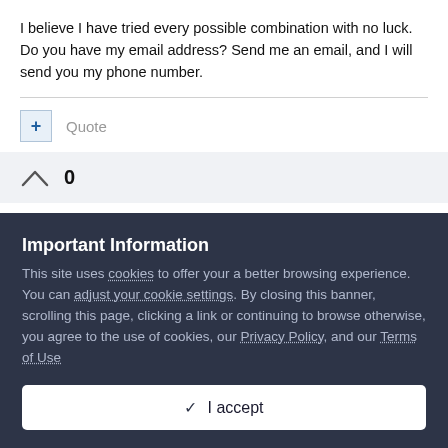I believe I have tried every possible combination with no luck.  Do you have my email address?  Send me an email, and I will send you my phone number.
+ Quote
0
Important Information
This site uses cookies to offer your a better browsing experience. You can adjust your cookie settings. By closing this banner, scrolling this page, clicking a link or continuing to browse otherwise, you agree to the use of cookies, our Privacy Policy, and our Terms of Use
✓  I accept